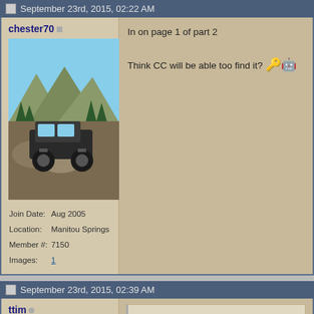September 23rd, 2015, 02:22 AM
chester70 | Join Date: Aug 2005 | Location: Manitou Springs | Member #: 7150 | Images: 1
In on page 1 of part 2

Think CC will be able too find it?
September 23rd, 2015, 02:39 AM
ttim | Join Date: May 2004 | Location: evergreen | Member #: 4058 | Images: 2
Originally Posted by chester... | In on page 1 of part 2 | Think CC will be able too find | it was my understanding he didnt ha...